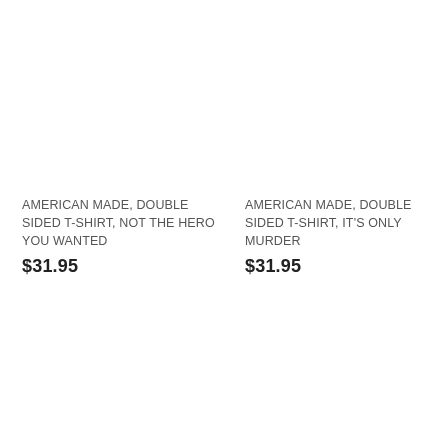AMERICAN MADE, DOUBLE SIDED T-SHIRT, NOT THE HERO YOU WANTED
$31.95
AMERICAN MADE, DOUBLE SIDED T-SHIRT, IT'S ONLY MURDER
$31.95